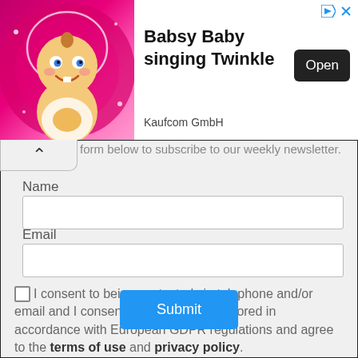[Figure (screenshot): Advertisement banner for 'Babsy Baby singing Twinkle' by Kaufcom GmbH with an animated baby character on a pink background, an 'Open' button, and navigation icons.]
form below to subscribe to our weekly newsletter.
Name
Email
I consent to being contacted via telephone and/or email and I consent to my data being stored in accordance with European GDPR regulations and agree to the terms of use and privacy policy.
Submit